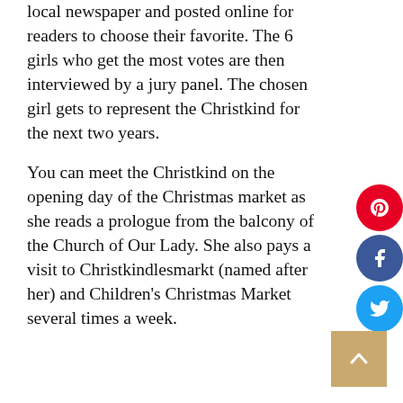local newspaper and posted online for readers to choose their favorite. The 6 girls who get the most votes are then interviewed by a jury panel. The chosen girl gets to represent the Christkind for the next two years.
You can meet the Christkind on the opening day of the Christmas market as she reads a prologue from the balcony of the Church of Our Lady. She also pays a visit to Christkindlesmarkt (named after her) and Children's Christmas Market several times a week.